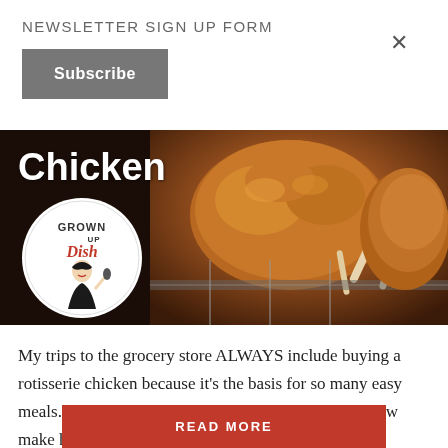NEWSLETTER SIGN UP FORM
Subscribe
[Figure (photo): Article banner showing rotisserie chicken with dark background. Text 'Chicken' in white bold, Grown Up Dish logo circle, and a close-up photo of roasted rotisserie chicken pieces on a rack.]
My trips to the grocery store ALWAYS include buying a rotisserie chicken because it’s the basis for so many easy meals. That’s why I was thrilled when I figured out how make homemade rotisserie chicken in my air fryer. Honestly, I was hesitant to cook a whole chicken in my air fryer. I was sure that it was going to either
READ MORE